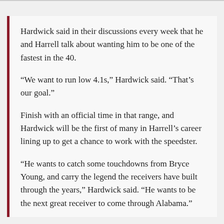Hardwick said in their discussions every week that he and Harrell talk about wanting him to be one of the fastest in the 40.
“We want to run low 4.1s,” Hardwick said. “That’s our goal.”
Finish with an official time in that range, and Hardwick will be the first of many in Harrell’s career lining up to get a chance to work with the speedster.
“He wants to catch some touchdowns from Bryce Young, and carry the legend the receivers have built through the years,” Hardwick said. “He wants to be the next great receiver to come through Alabama.”